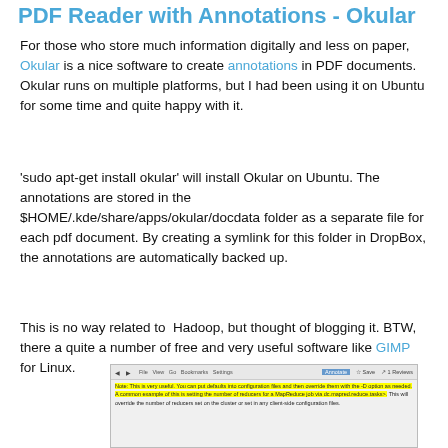PDF Reader with Annotations - Okular
For those who store much information digitally and less on paper, Okular is a nice software to create annotations in PDF documents. Okular runs on multiple platforms, but I had been using it on Ubuntu for some time and quite happy with it.
'sudo apt-get install okular' will install Okular on Ubuntu. The annotations are stored in the $HOME/.kde/share/apps/okular/docdata folder as a separate file for each pdf document. By creating a symlink for this folder in DropBox, the annotations are automatically backed up.
This is no way related to  Hadoop, but thought of blogging it. BTW, there a quite a number of free and very useful software like GIMP for Linux.
[Figure (screenshot): Screenshot of Okular PDF reader showing a document with highlighted text in yellow and strikethrough text, with toolbar at top.]